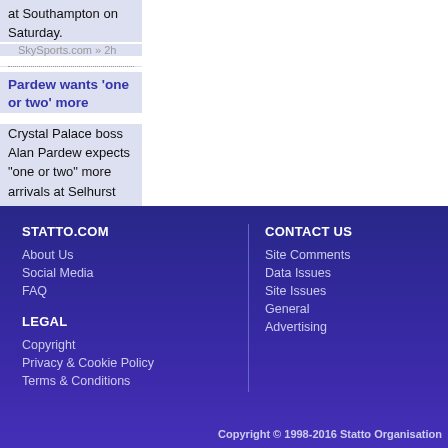at Southampton on Saturday.
SkySports.com » 2h
Pardew wants 'one or two' more
Crystal Palace boss Alan Pardew expects "one or two" more arrivals at Selhurst Park before the transfer window closes on Wednesday.
SkySports.com » 2h
STATTO.COM
About Us
Social Media
FAQ
LEGAL
Copyright
Privacy & Cookie Policy
Terms & Conditions
CONTACT US
Site Comments
Data Issues
Site Issues
General
Advertising
Copyright © 1998-2016 Statto Organisation